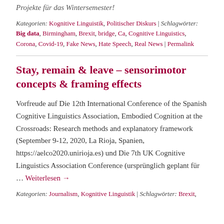Projekte für das Wintersemester!
Kategorien: Kognitive Linguistik, Politischer Diskurs | Schlagwörter: Big data, Birmingham, Brexit, bridge, Ca, Cognitive Linguistics, Corona, Covid-19, Fake News, Hate Speech, Real News | Permalink
Stay, remain & leave – sensorimotor concepts & framing effects
Vorfreude auf Die 12th International Conference of the Spanish Cognitive Linguistics Association, Embodied Cognition at the Crossroads: Research methods and explanatory framework (September 9-12, 2020, La Rioja, Spanien, https://aelco2020.unirioja.es) und Die 7th UK Cognitive Linguistics Association Conference (ursprünglich geplant für … Weiterlesen →
Kategorien: Journalism, Kognitive Linguistik | Schlagwörter: Brexit,